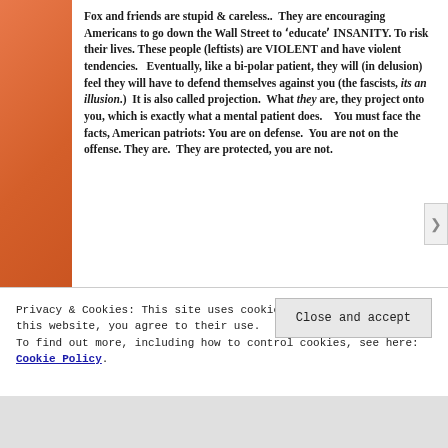Fox and friends are stupid & careless.. They are encouraging Americans to go down the Wall Street to 'educate' INSANITY. To risk their lives. These people (leftists) are VIOLENT and have violent tendencies. Eventually, like a bi-polar patient, they will (in delusion) feel they will have to defend themselves against you (the fascists, its an illusion.) It is also called projection. What they are, they project onto you, which is exactly what a mental patient does. You must face the facts, American patriots: You are on defense. You are not on the offense. They are. They are protected, you are not.
Privacy & Cookies: This site uses cookies. By continuing to use this website, you agree to their use. To find out more, including how to control cookies, see here: Cookie Policy
Close and accept